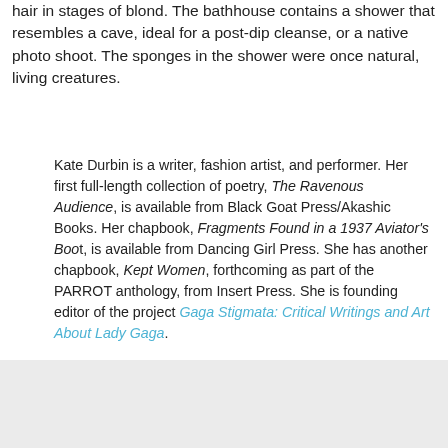hair in stages of blond. The bathhouse contains a shower that resembles a cave, ideal for a post-dip cleanse, or a native photo shoot. The sponges in the shower were once natural, living creatures.
Kate Durbin is a writer, fashion artist, and performer. Her first full-length collection of poetry, The Ravenous Audience, is available from Black Goat Press/Akashic Books. Her chapbook, Fragments Found in a 1937 Aviator's Boot, is available from Dancing Girl Press. She has another chapbook, Kept Women, forthcoming as part of the PARROT anthology, from Insert Press. She is founding editor of the project Gaga Stigmata: Critical Writings and Art About Lady Gaga.